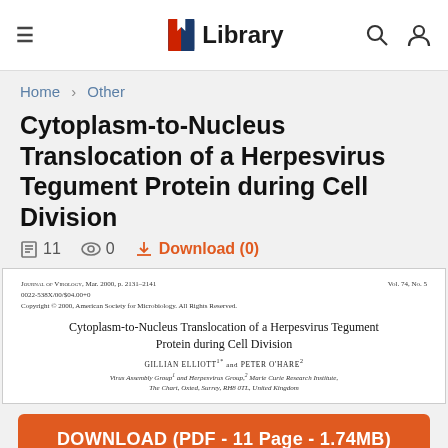Library
Home > Other
Cytoplasm-to-Nucleus Translocation of a Herpesvirus Tegument Protein during Cell Division
11   0   Download (0)
[Figure (screenshot): Preview of the journal article first page: Journal of Virology, Mar. 2000, p. 2131-2141, Vol. 74, No. 5. Title: Cytoplasm-to-Nucleus Translocation of a Herpesvirus Tegument Protein during Cell Division. Authors: GILLIAN ELLIOTT and PETER O'HARE. Virus Assembly Group and Herpesvirus Group, Marie Curie Research Institute, The Chart, Oxted, Surrey, RH8 0TL, United Kingdom.]
DOWNLOAD (PDF - 11 Page - 1.74MB)